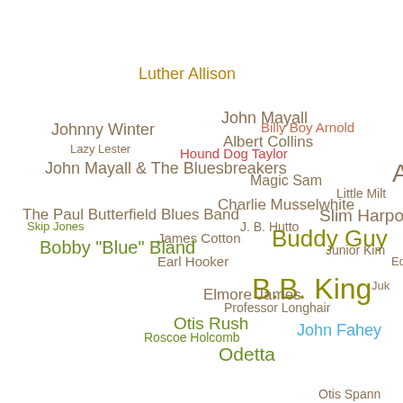[Figure (other): Word cloud / scatter plot of blues musicians' names positioned at various locations, sized and colored differently to indicate prominence or categorization. Names include: Luther Allison, John Mayall, Billy Boy Arnold, Johnny Winter, Albert Collins, Lazy Lester, Hound Dog Taylor, John Mayall & The Bluesbreakers, Magic Sam, Little Milton, Charlie Musselwhite, The Paul Butterfield Blues Band, Slim Harpo, Skip Jones, J. B. Hutto, James Cotton, Buddy Guy, Bobby 'Blue' Bland, Junior Kimbrough, Earl Hooker, Ed, B.B. King, Juke, Elmore James, Professor Longhair, Otis Rush, John Fahey, Roscoe Holcomb, Odetta, Otis Spann.]